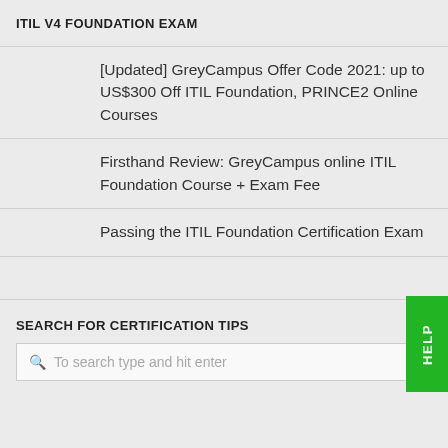ITIL V4 FOUNDATION EXAM
[Updated] GreyCampus Offer Code 2021: up to US$300 Off ITIL Foundation, PRINCE2 Online Courses
Firsthand Review: GreyCampus online ITIL Foundation Course + Exam Fee
Passing the ITIL Foundation Certification Exam
SEARCH FOR CERTIFICATION TIPS
To search type and hit enter